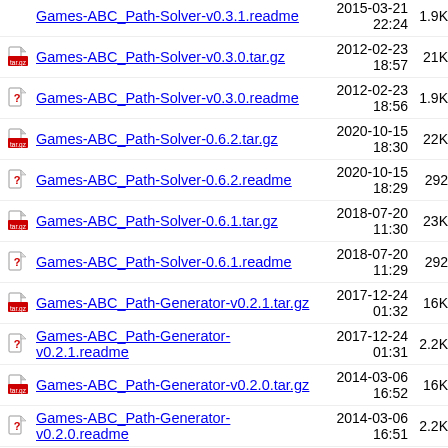Games-ABC_Path-Solver-v0.3.1.readme  2015-03-21 22:24  1.9K
Games-ABC_Path-Solver-v0.3.0.tar.gz  2012-02-23 18:57  21K
Games-ABC_Path-Solver-v0.3.0.readme  2012-02-23 18:56  1.9K
Games-ABC_Path-Solver-0.6.2.tar.gz  2020-10-15 18:30  22K
Games-ABC_Path-Solver-0.6.2.readme  2020-10-15 18:29  292
Games-ABC_Path-Solver-0.6.1.tar.gz  2018-07-20 11:30  23K
Games-ABC_Path-Solver-0.6.1.readme  2018-07-20 11:29  292
Games-ABC_Path-Generator-v0.2.1.tar.gz  2017-12-24 01:32  16K
Games-ABC_Path-Generator-v0.2.1.readme  2017-12-24 01:31  2.2K
Games-ABC_Path-Generator-v0.2.0.tar.gz  2014-03-06 16:52  16K
Games-ABC_Path-Generator-v0.2.0.readme  2014-03-06 16:51  2.2K
Games-ABC_Path-Generator-v0.1.1.tar.gz  2013-05-21  15K